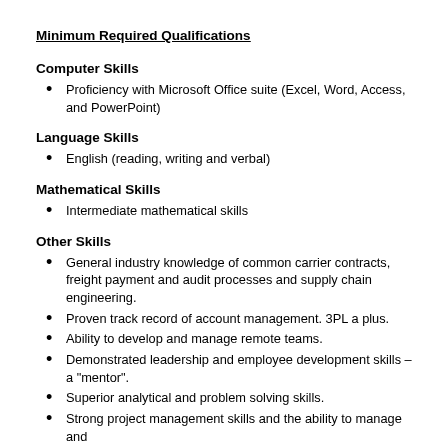Minimum Required Qualifications
Computer Skills
Proficiency with Microsoft Office suite (Excel, Word, Access, and PowerPoint)
Language Skills
English (reading, writing and verbal)
Mathematical Skills
Intermediate mathematical skills
Other Skills
General industry knowledge of common carrier contracts, freight payment and audit processes and supply chain engineering.
Proven track record of account management. 3PL a plus.
Ability to develop and manage remote teams.
Demonstrated leadership and employee development skills – a "mentor".
Superior analytical and problem solving skills.
Strong project management skills and the ability to manage and